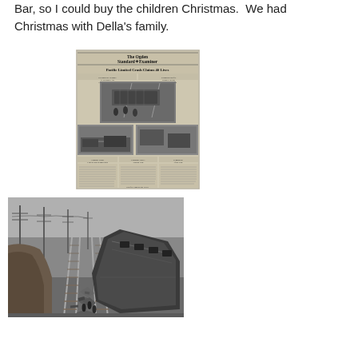Bar, so I could buy the children Christmas.  We had Christmas with Della's family.
[Figure (photo): Scanned front page of 'The Ogden Standard Examiner' newspaper with headline 'Pacific Limited Crash Claims 40 Lives' and multiple photographs of a train wreck.]
[Figure (photo): Black and white historical photograph showing a train crash scene with derailed/overturned train cars on railroad tracks, with telegraph poles visible in the background.]